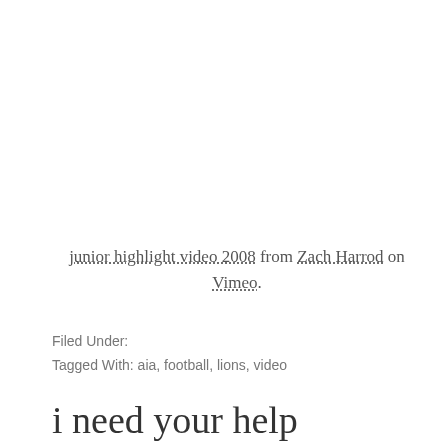junior highlight video 2008 from Zach Harrod on Vimeo.
Filed Under:
Tagged With: aia, football, lions, video
i need your help